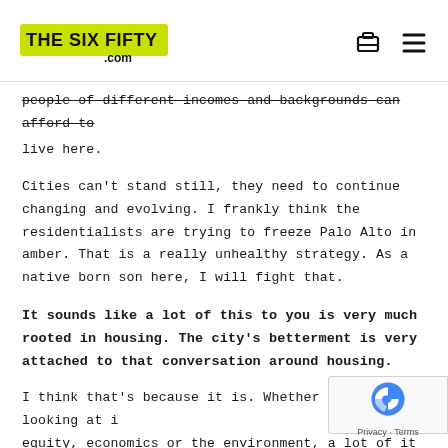THE SIX FIFTY .COM
people of different incomes and backgrounds can afford to live here.
Cities can't stand still, they need to continue changing and evolving. I frankly think the residentialists are trying to freeze Palo Alto in amber. That is a really unhealthy strategy. As a native born son here, I will fight that.
It sounds like a lot of this to you is very much rooted in housing. The city's betterment is very attached to that conversation around housing.
I think that's because it is. Whether you're looking at it from equity, economics or the environment, a lot of it ties back to housing. If we want to reach our climate change goals, and our